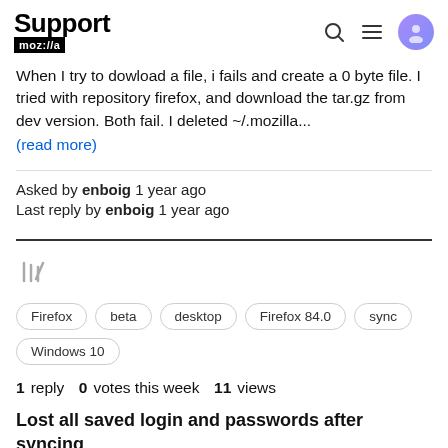Support moz://a
When I try to dowload a file, i fails and create a 0 byte file. I tried with repository firefox, and download the tar.gz from dev version. Both fail. I deleted ~/.mozilla... (read more)
Asked by enboig 1 year ago
Last reply by enboig 1 year ago
[Figure (other): Bookmark/library icon (three vertical bars with diagonal line)]
Firefox  beta  desktop  Firefox 84.0  sync  Windows 10
1 reply  0 votes this week  11 views
Lost all saved login and passwords after syncing